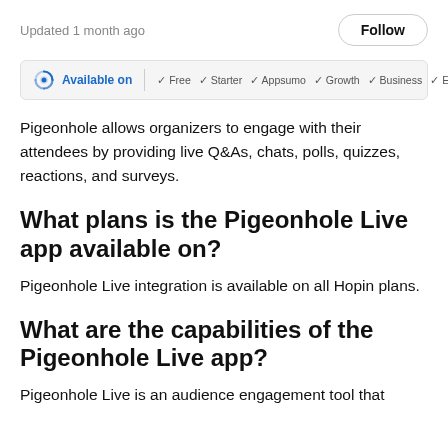Updated 1 month ago
Follow
[Figure (infographic): Available on badge bar with Pigeonhole logo, 'Available on' label, and plan checkmarks: Free, Starter, Appsumo, Growth, Business, Enterprise]
Pigeonhole allows organizers to engage with their attendees by providing live Q&As, chats, polls, quizzes, reactions, and surveys.
What plans is the Pigeonhole Live app available on?
Pigeonhole Live integration is available on all Hopin plans.
What are the capabilities of the Pigeonhole Live app?
Pigeonhole Live is an audience engagement tool that